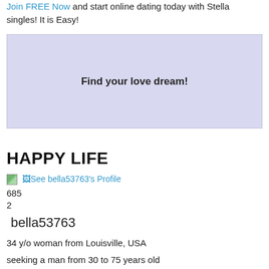Join FREE Now and start online dating today with Stella singles! It is Easy!
[Figure (other): Advertisement banner with light purple/lavender background and bold text 'Find your love dream!']
HAPPY LIFE
See bella53763's Profile
685
2
bella53763
34 y/o woman from Louisville, USA
seeking a man from 30 to 75 years old